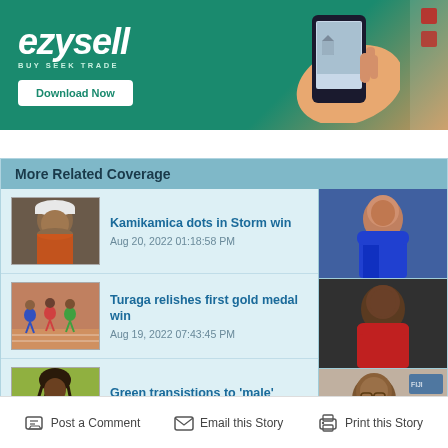[Figure (photo): EzySell advertisement banner with green background, phone graphic, and Download Now button]
More Related Coverage
[Figure (photo): Thumbnail of man in white cap, linked to 'Kamikamica dots in Storm win']
Kamikamica dots in Storm win
Aug 20, 2022 01:18:58 PM
[Figure (photo): Thumbnail of runners on track, linked to 'Turaga relishes first gold medal win']
Turaga relishes first gold medal win
Aug 19, 2022 07:43:45 PM
[Figure (photo): Thumbnail of athlete with dreadlocks in yellow outfit, linked to 'Green transistions to male']
Green transistions to 'male'
Aug 17, 2022 01:03:15 PM
[Figure (photo): Right side thumbnail: rugby player in blue Fiji jersey]
[Figure (photo): Right side thumbnail: man in red Fiji jersey]
[Figure (photo): Right side thumbnail: bald man with glasses in front of Fiji logos]
Post a Comment
Email this Story
Print this Story